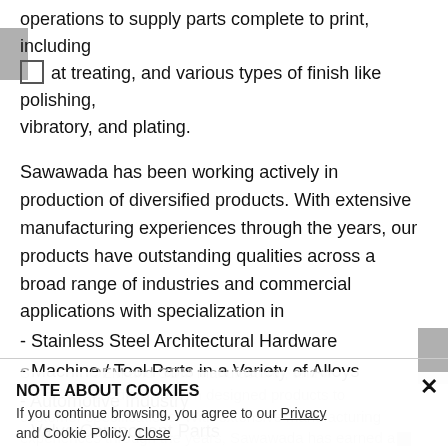operations to supply parts complete to print, including □​at treating, and various types of finish like polishing, vibratory, and plating.
Sawawada has been working actively in production of diversified products. With extensive manufacturing experiences through the years, our products have outstanding qualities across a broad range of industries and commercial applications with specialization in
- Stainless Steel Architectural Hardware
- Machine / Tool Parts in a Variety of Alloys
- Automotive Industry
- Valve Component Parts
S... OEM and ODM manufacturer, and we are able to produce custom designed products to customer specifications. With extensive manufacturing experiences through the years, Sawawada has earned a...
NOTE ABOUT COOKIES
If you continue browsing, you agree to our Privacy and Cookie Policy. Close